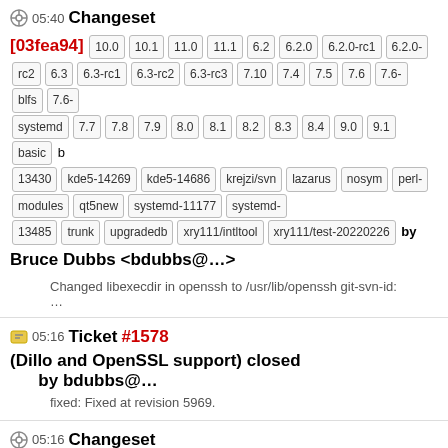05:40 Changeset
[03fea94] 10.0 10.1 11.0 11.1 6.2 6.2.0 6.2.0-rc1 6.2.0-rc2 6.3 6.3-rc1 6.3-rc2 6.3-rc3 7.10 7.4 7.5 7.6 7.6-blfs 7.6-systemd 7.7 7.8 7.9 8.0 8.1 8.2 8.3 8.4 9.0 9.1 basic b 13430 kde5-14269 kde5-14686 krejzi/svn lazarus nosym perl-modules qt5new systemd-11177 systemd-13485 trunk upgradedb xry111/intltool xry111/test-20220226 by Bruce Dubbs <bdubbs@...>
Changed libexecdir in openssh to /usr/lib/openssh git-svn-id:
...
05:16 Ticket #1578 (Dillo and OpenSSL support) closed by bdubbs@...
fixed: Fixed at revision 5969.
05:16 Changeset
[9002f1db] 10.0 10.1 11.0 11.1 6.2 6.2.0 6.2.0-rc1 6.2.0-rc2 6.3 6.3-rc1 6.3-rc2 6.3-rc3 7.10 7.4 7.5 7.6 7.6-blfs 7.6-systemd 7.7 7.8 7.9 8.0 8.1 8.2 8.3 8.4 9.0 9.1 basic b 13430 kde5-14269 kde5-14686 krejzi/svn lazarus nosym perl-